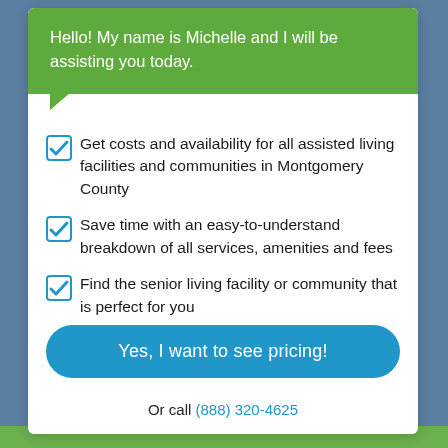Hello! My name is Michelle and I will be assisting you today.
Get costs and availability for all assisted living facilities and communities in Montgomery County
Save time with an easy-to-understand breakdown of all services, amenities and fees
Find the senior living facility or community that is perfect for you
Yes, I want to see pricing!
Or call (888) 320-4625